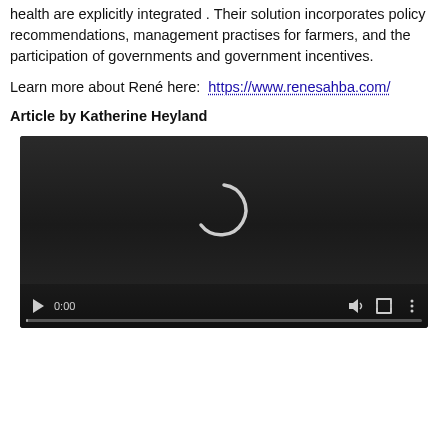health are explicitly integrated . Their solution incorporates policy recommendations, management practises for farmers, and the participation of governments and government incentives.
Learn more about René here: https://www.renesahba.com/
Article by Katherine Heyland
[Figure (screenshot): Embedded video player with dark background, a loading spinner arc visible in the center, playback controls at the bottom showing play button, timestamp 0:00, volume, fullscreen, and menu icons, with a progress bar at the very bottom.]